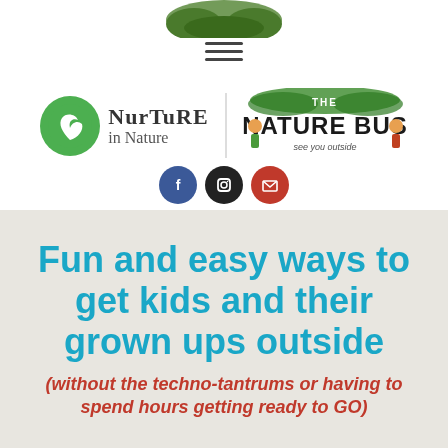[Figure (logo): Tree canopy graphic at top of page]
[Figure (logo): Hamburger/menu icon with three horizontal lines]
[Figure (logo): Nurture in Nature logo with green circle icon and text, alongside The Nature Bus logo with cartoon characters and foliage]
[Figure (logo): Three social media icons: Facebook (blue circle), Instagram (black circle), Email (red circle)]
Fun and easy ways to get kids and their grown ups outside
(without the techno-tantrums or having to spend hours getting ready to GO)